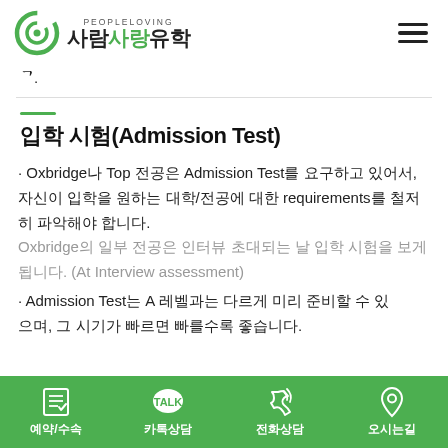PEOPLELOVING 사람사랑유학
ᄀ.
입학 시험(Admission Test)
· Oxbridge나 Top 전공은 Admission Test를 요구하고 있어서, 자신이 입학을 원하는 대학/전공에 대한 requirements를 철저히 파악해야 합니다.
Oxbridge의 일부 전공은 인터뷰 초대되는 날 입학 시험을 보게 됩니다. (At Interview assessment)
· Admission Test는 A 레벨과는 다르게 미리 준비할 수 있으며, 그 시기가 빠르면 빠를수록 좋습니다.
예약/수속  카톡상담  전화상담  오시는길